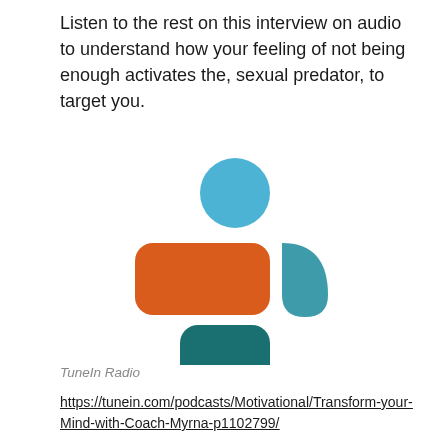Listen to the rest on this interview on audio to understand how your feeling of not being enough activates the, sexual predator, to target you.
[Figure (logo): TuneIn logo — blue circle above orange rounded rectangle (left) and teal leaf shape (right), with teal rounded square below left shape, spelling out a person figure; below the icon is the word 'tunein' in bold black lowercase letters]
TuneIn Radio
https://tunein.com/podcasts/Motivational/Transform-your-Mind-with-Coach-Myrna-p1102799/